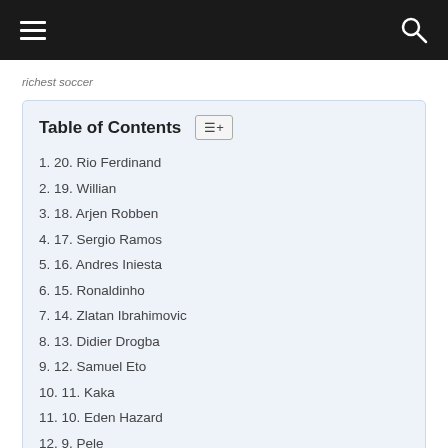richest soccer
Table of Contents
1. 20. Rio Ferdinand
2. 19. Willian
3. 18. Arjen Robben
4. 17. Sergio Ramos
5. 16. Andres Iniesta
6. 15. Ronaldinho
7. 14. Zlatan Ibrahimovic
8. 13. Didier Drogba
9. 12. Samuel Eto
10. 11. Kaka
11. 10. Eden Hazard
12. 9. Pele
13. 8. Francesco Totti
14. 7. Gareth Bale
15. 6. Wayne Rooney